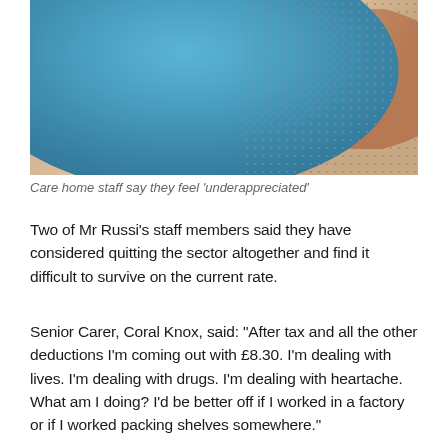[Figure (photo): Close-up photo of a person wearing a blue latex glove touching or holding something, with a dotted/patterned background on the right side. A skin-toned arm is also visible.]
Care home staff say they feel 'underappreciated'
Two of Mr Russi's staff members said they have considered quitting the sector altogether and find it difficult to survive on the current rate.
Senior Carer, Coral Knox, said: "After tax and all the other deductions I'm coming out with £8.30. I'm dealing with lives. I'm dealing with drugs. I'm dealing with heartache. What am I doing? I'd be better off if I worked in a factory or if I worked packing shelves somewhere."